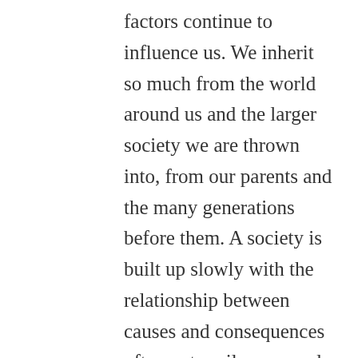factors continue to influence us. We inherit so much from the world around us and the larger society we are thrown into, from our parents and the many generations before them. A society is built up slowly with the relationship between causes and consequences often not easily seen and, even when noticed, rarely appreciated. We are born and we grow up in conditions that we simply take for granted as our reality. But those conditions don’t have to be taken as fatalistic for, if we seek to understand them and embrace that understanding, we can change the very